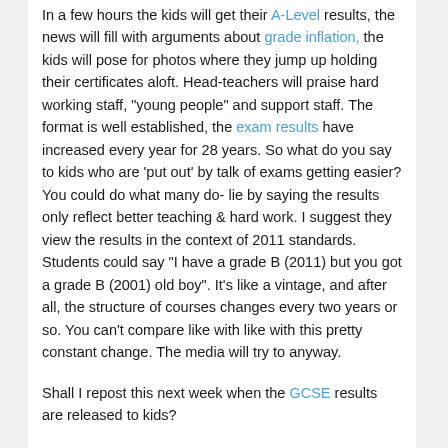In a few hours the kids will get their A-Level results, the news will fill with arguments about grade inflation, the kids will pose for photos where they jump up holding their certificates aloft. Head-teachers will praise hard working staff, "young people" and support staff. The format is well established, the exam results have increased every year for 28 years. So what do you say to kids who are 'put out' by talk of exams getting easier? You could do what many do- lie by saying the results only reflect better teaching & hard work. I suggest they view the results in the context of 2011 standards. Students could say "I have a grade B (2011) but you got a grade B (2001) old boy". It's like a vintage, and after all, the structure of courses changes every two years or so. You can't compare like with like with this pretty constant change. The media will try to anyway.
Shall I repost this next week when the GCSE results are released to kids?
Latest: the results have stayed the same for the first time in 28 years, within 0.5% anyway.